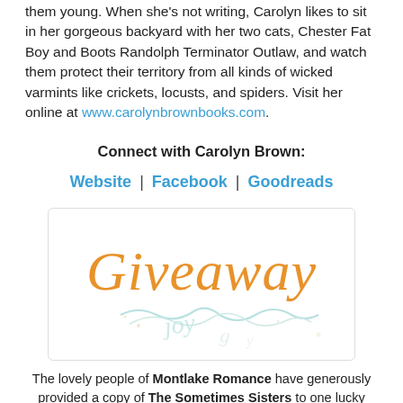them young. When she's not writing, Carolyn likes to sit in her gorgeous backyard with her two cats, Chester Fat Boy and Boots Randolph Terminator Outlaw, and watch them protect their territory from all kinds of wicked varmints like crickets, locusts, and spiders. Visit her online at www.carolynbrownbooks.com.
Connect with Carolyn Brown:
Website | Facebook | Goodreads
[Figure (illustration): Decorative giveaway image with stylized orange 'Giveaway' text and light blue swirling decorative script below on white background, inside a light gray bordered rectangle.]
The lovely people of Montlake Romance have generously provided a copy of The Sometimes Sisters to one lucky